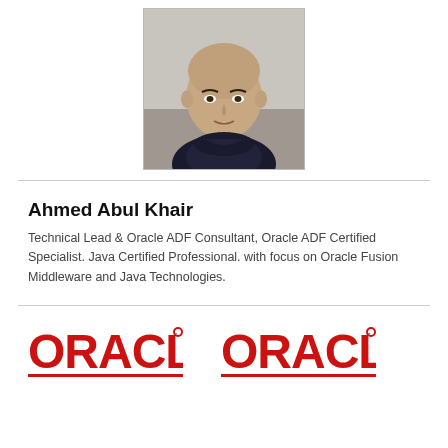[Figure (photo): Headshot photo of Ahmed Abul Khair, a bald man wearing a dark jacket]
Ahmed Abul Khair
Technical Lead & Oracle ADF Consultant, Oracle ADF Certified Specialist. Java Certified Professional. with focus on Oracle Fusion Middleware and Java Technologies.
[Figure (logo): Oracle logo (red text, ORACLE with registered trademark dot)]
[Figure (logo): Oracle logo (red text, ORACLE with registered trademark dot)]